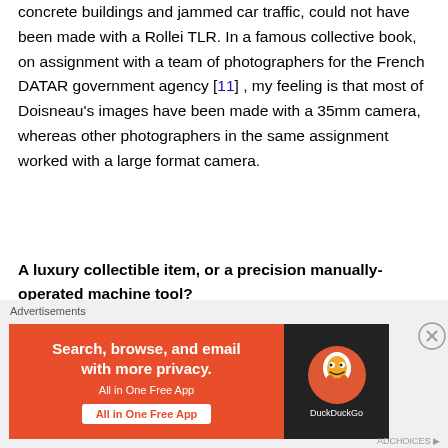concrete buildings and jammed car traffic, could not have been made with a Rollei TLR. In a famous collective book, on assignment with a team of photographers for the French DATAR government agency [11] , my feeling is that most of Doisneau's images have been made with a 35mm camera, whereas other photographers in the same assignment worked with a large format camera.
A luxury collectible item, or a precision manually-operated machine tool?
After the bankruptcy of the former Rollei Werke company in 1981, the logic should have commanded that the Rolleiflex TLR definitely ceased to be manufactured. In 1982 and 1983, a limited series of 2.8 F “Aurum” TLRs
[Figure (infographic): DuckDuckGo advertisement banner: orange background with text 'Search, browse, and email with more privacy. All in One Free App' and DuckDuckGo logo on dark right panel.]